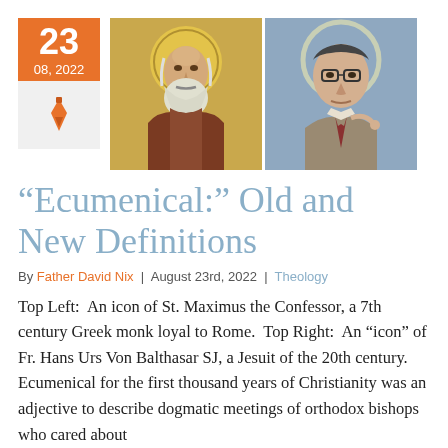[Figure (photo): Date block showing '23' and '08, 2022' in orange, with a pen icon below on gray background, alongside two religious portraits: left is an icon of St. Maximus the Confessor (Byzantine style, elderly bearded monk), right is an icon-style portrait of Fr. Hans Urs Von Balthasar SJ (modern man with glasses and halo).]
“Ecumenical:” Old and New Definitions
By Father David Nix | August 23rd, 2022 | Theology
Top Left:  An icon of St. Maximus the Confessor, a 7th century Greek monk loyal to Rome.  Top Right:  An "icon" of Fr. Hans Urs Von Balthasar SJ, a Jesuit of the 20th century. Ecumenical for the first thousand years of Christianity was an adjective to describe dogmatic meetings of orthodox bishops who cared about